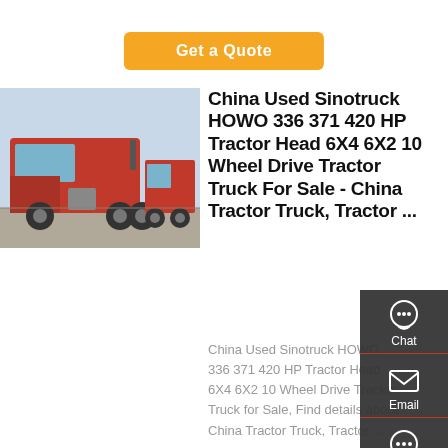[Figure (other): Orange 'Get a Quote' button on white background at top center of page]
[Figure (photo): Photo of red Sinotruck HOWO tractor head trucks parked in a lot, multiple red trucks visible]
China Used Sinotruck HOWO 336 371 420 HP Tractor Head 6X4 6X2 10 Wheel Drive Tractor Truck For Sale - China Tractor Truck, Tractor ...
China Used Sinotruck HOWO 336 371 420 HP Tractor Head 6X4 6X2 10 Wheel Drive Tractor Truck for Sale, Find details about China Tractor Truck, Tractor ...
[Figure (infographic): Dark side panel with Chat, Email, Contact, and Top navigation icons]